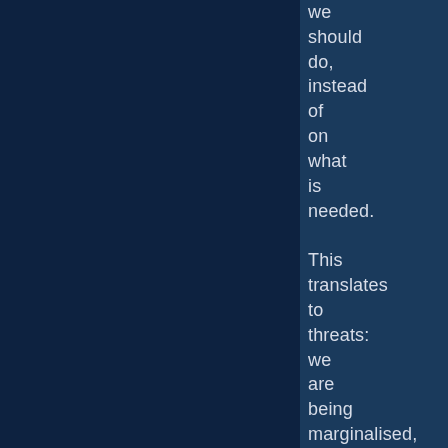we should do, instead of on what is needed.

This translates to threats: we are being marginalised, overlooked, disregarded – by economists